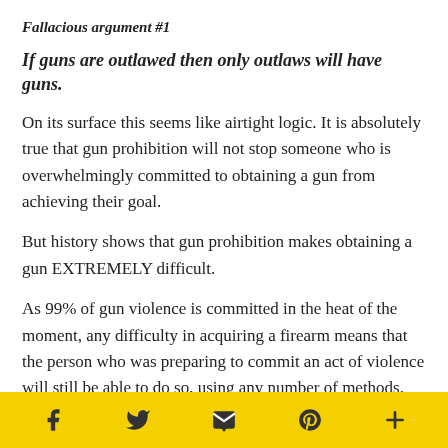Fallacious argument #1
If guns are outlawed then only outlaws will have guns.
On its surface this seems like airtight logic. It is absolutely true that gun prohibition will not stop someone who is overwhelmingly committed to obtaining a gun from achieving their goal.
But history shows that gun prohibition makes obtaining a gun EXTREMELY difficult.
As 99% of gun violence is committed in the heat of the moment, any difficulty in acquiring a firearm means that the person who was preparing to commit an act of violence will still be able to do so, using any number of methods.
Social share icons: Facebook, Twitter, Email, Pinterest, More